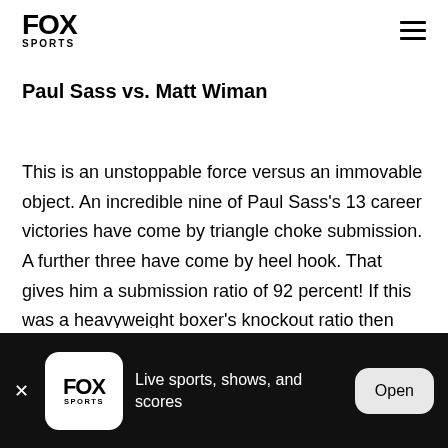FOX SPORTS
Paul Sass vs. Matt Wiman
This is an unstoppable force versus an immovable object. An incredible nine of Paul Sass's 13 career victories have come by triangle choke submission. A further three have come by heel hook. That gives him a submission ratio of 92 percent! If this was a heavyweight boxer's knockout ratio then we'd proclaiming him the new Mike Tyson. And yet Britain's
FOX SPORTS — Live sports, shows, and scores — Open